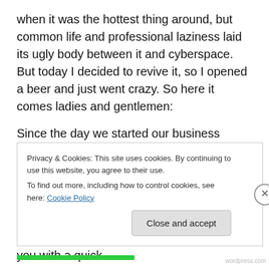when it was the hottest thing around, but common life and professional laziness laid its ugly body between it and cyberspace. But today I decided to revive it, so I opened a beer and just went crazy. So here it comes ladies and gentlemen:
Since the day we started our business some people have been asking us questions such as “When is project Mustang coming out”, “What is this wardrobe thingy” and “Which Kent song describes ÖeG the best”. But instead of answering theses questions I will provide you with a quick
Privacy & Cookies: This site uses cookies. By continuing to use this website, you agree to their use.
To find out more, including how to control cookies, see here: Cookie Policy